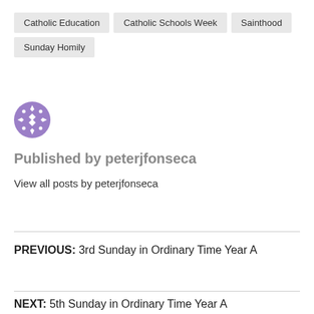Catholic Education
Catholic Schools Week
Sainthood
Sunday Homily
[Figure (illustration): Purple circular avatar icon with decorative white cross/diamond pattern]
Published by peterjfonseca
View all posts by peterjfonseca
PREVIOUS: 3rd Sunday in Ordinary Time Year A
NEXT: 5th Sunday in Ordinary Time Year A